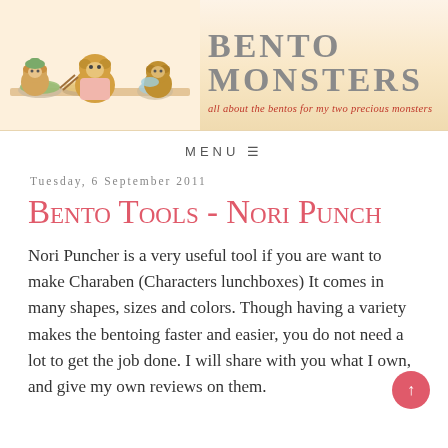[Figure (illustration): Blog header banner with cartoon bear illustrations making bento boxes on the left, and the blog title 'BENTO MONSTERS' with subtitle 'all about the bentos for my two precious monsters' on the right, on a warm cream/peach background.]
MENU ≡
Tuesday, 6 September 2011
Bento Tools - Nori Punch
Nori Puncher is a very useful tool if you are want to make Charaben (Characters lunchboxes) It comes in many shapes, sizes and colors. Though having a variety makes the bentoing faster and easier, you do not need a lot to get the job done. I will share with you what I own, and give my own reviews on them.